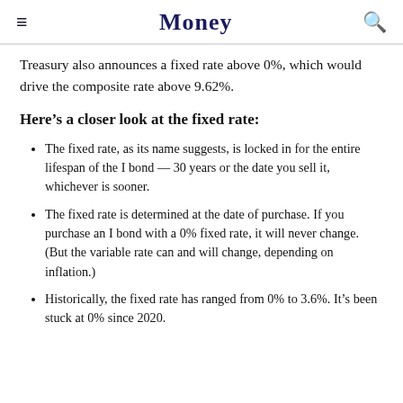Money
Treasury also announces a fixed rate above 0%, which would drive the composite rate above 9.62%.
Here’s a closer look at the fixed rate:
The fixed rate, as its name suggests, is locked in for the entire lifespan of the I bond — 30 years or the date you sell it, whichever is sooner.
The fixed rate is determined at the date of purchase. If you purchase an I bond with a 0% fixed rate, it will never change. (But the variable rate can and will change, depending on inflation.)
Historically, the fixed rate has ranged from 0% to 3.6%. It’s been stuck at 0% since 2020.